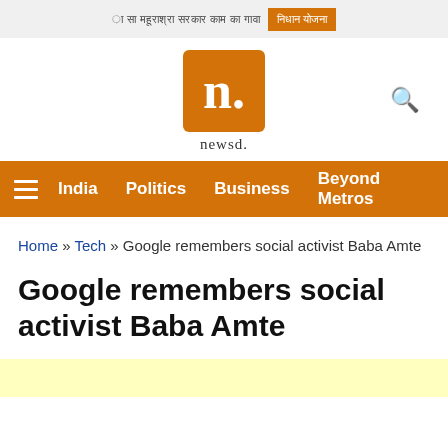Hindi banner text | button
[Figure (logo): newsd. logo — orange square with white 'n.' followed by 'newsd.' text below]
India   Politics   Business   Beyond Metros
Home » Tech » Google remembers social activist Baba Amte
Google remembers social activist Baba Amte